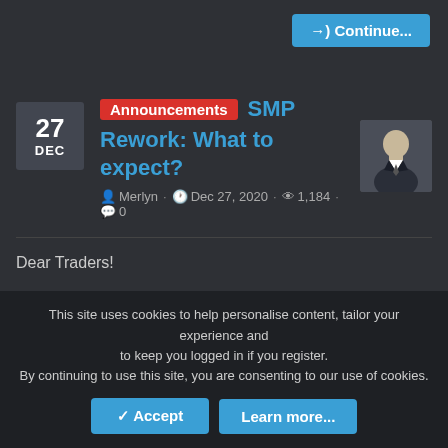→) Continue...
Announcements  SMP Rework: What to expect?
27 DEC
Merlyn · Dec 27, 2020 · 1,184 · 0
Dear Traders!
This site uses cookies to help personalise content, tailor your experience and to keep you logged in if you register. By continuing to use this site, you are consenting to our use of cookies.
✓ Accept   Learn more...